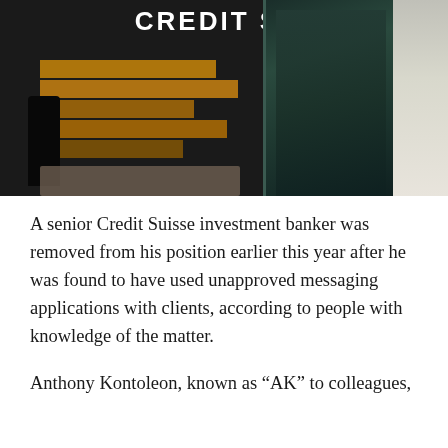[Figure (photo): A dark photograph showing the Credit Suisse bank entrance with the CREDIT SUISSE logo visible at the top in white letters. A silhouetted person stands to the left near golden/orange horizontal stripe reflections. Glass entrance doors are visible in the center-right, reflecting the interior. A lighter panel is visible on the far right.]
A senior Credit Suisse investment banker was removed from his position earlier this year after he was found to have used unapproved messaging applications with clients, according to people with knowledge of the matter.
Anthony Kontoleon, known as “AK” to colleagues,